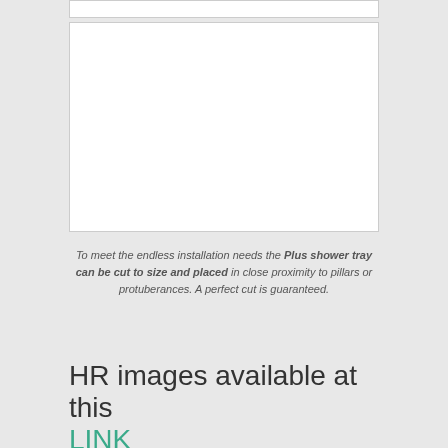[Figure (photo): Blank white image placeholder box (top strip)]
[Figure (photo): Blank white image placeholder box (main large area)]
To meet the endless installation needs the Plus shower tray can be cut to size and placed in close proximity to pillars or protuberances. A perfect cut is guaranteed.
HR images available at this LINK